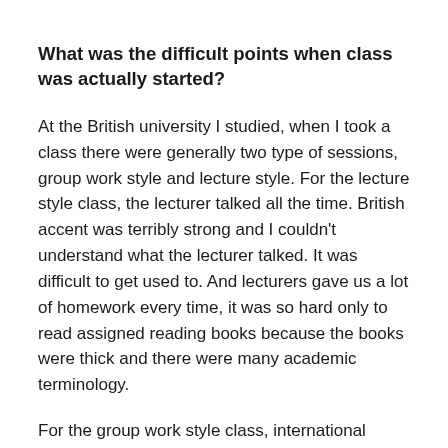What was the difficult points when class was actually started?
At the British university I studied, when I took a class there were generally two type of sessions, group work style and lecture style. For the lecture style class, the lecturer talked all the time. British accent was terribly strong and I couldn't understand what the lecturer talked. It was difficult to get used to. And lecturers gave us a lot of homework every time, it was so hard only to read assigned reading books because the books were thick and there were many academic terminology.
For the group work style class, international students make a group with local students, you know, local